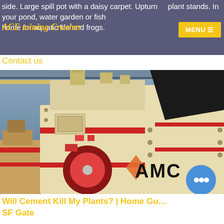side. Large spill pot with a daisy carpet. Upturned plant stands. In your pond, water garden or fish tank as a home for aquatic life and frogs.
ACE mining Crusher
MENU ≡
Contact us
[Figure (photo): Industrial mining crusher machines (impact crushers) in beige/cream color with red accents, displayed in a factory hall. AMC logo visible in lower right corner of the image.]
Will Cement Kill My Plants? | Home Guides | SF Gate